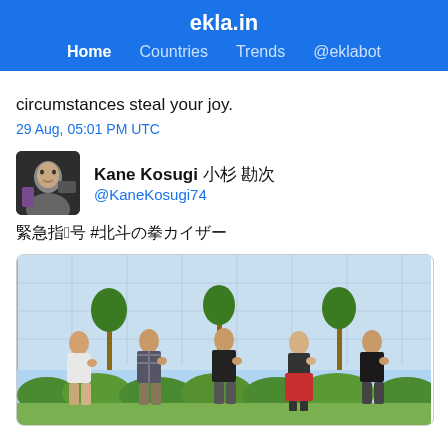ekla.in
Home   Countries   Trends   @eklabot
circumstances steal your joy.
29 Aug, 05:01 PM UTC
Kane Kosugi 小杉 勘次 @KaneKosugi74
緊急指令5号 #北斗の拳カイザー
[Figure (photo): Five people standing outdoors in front of a glass building with trees, each making a hand gesture]